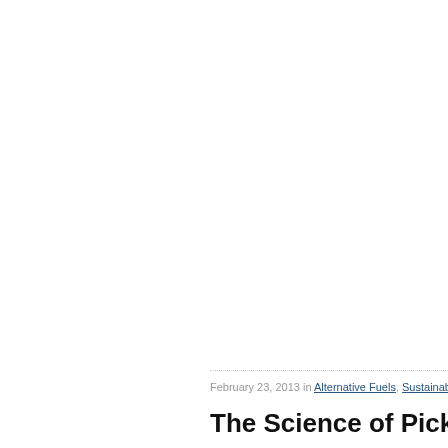February 23, 2013 in Alternative Fuels, Sustainab...
The Science of Picking Poc...